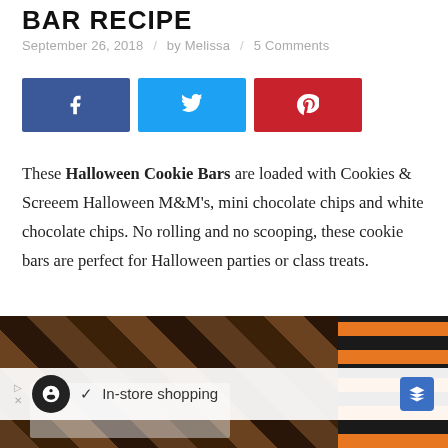BAR RECIPE
September 26, 2018 / by Melissa / 5 Comments
[Figure (other): Social share buttons: Facebook (blue), Twitter (light blue), Pinterest (red)]
These Halloween Cookie Bars are loaded with Cookies & Screeem Halloween M&M's, mini chocolate chips and white chocolate chips. No rolling and no scooping, these cookie bars are perfect for Halloween parties or class treats.
[Figure (photo): Photo of Halloween cookie bars on a wooden surface with orange and black striped Halloween packaging visible]
In-store shopping (advertisement banner)